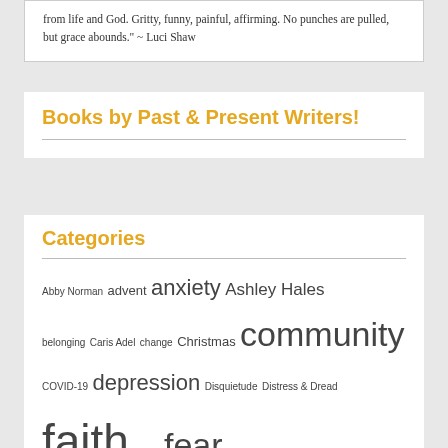from life and God. Gritty, funny, painful, affirming. No punches are pulled, but grace abounds." ~ Luci Shaw
Books by Past & Present Writers!
Categories
Abby Norman advent anxiety Ashley Hales belonging Caris Adel change Christmas community COVID-19 depression Disquietude Distress & Dread faith family fear friendship grief grief loss longing healing hope